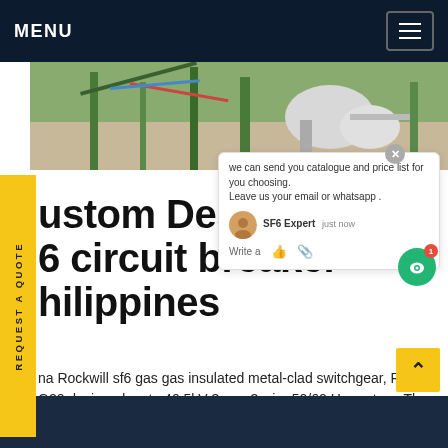MENU
[Figure (photo): Industrial equipment photo showing metal structures, pipes, and outdoor electrical/mechanical infrastructure in a facility yard]
Custom Designed sf6 circuit breaker philippines
we can send you catalogue and price list for you choosing. Leave us your email or whatsapp .
na Rockwill sf6 gas gas insulated metal-clad switchgear, RGIS-G20 designed up to 40.5kV 3-ase 3 wire 50/60 Hz system. The switchgear rated age up to 40.5kV and has horizontally or Vertically-installed vacuum circuit breakers.Get price